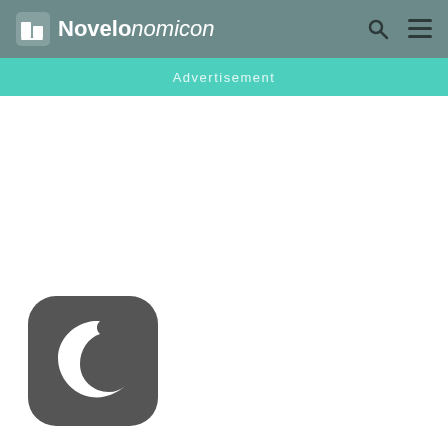Novelonomicon
Advertisement
[Figure (logo): Dark rounded square icon with a white crescent moon symbol, positioned at bottom left of the page]